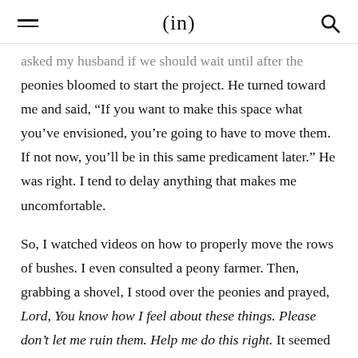(in)
asked my husband if we should wait until after the peonies bloomed to start the project. He turned toward me and said, “If you want to make this space what you’ve envisioned, you’re going to have to move them. If not now, you’ll be in this same predicament later.” He was right. I tend to delay anything that makes me uncomfortable.

So, I watched videos on how to properly move the rows of bushes. I even consulted a peony farmer. Then, grabbing a shovel, I stood over the peonies and prayed, Lord, You know how I feel about these things. Please don’t let me ruin them. Help me do this right. It seemed like a really silly prayer. I’ve